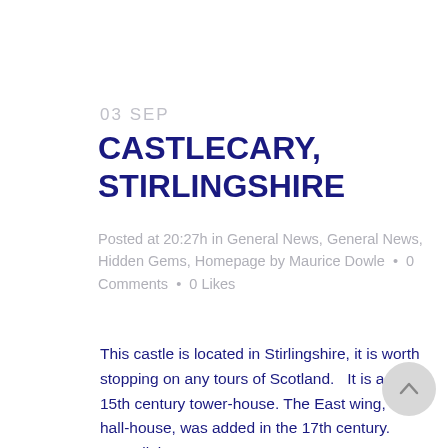03 SEP
CASTLECARY, STIRLINGSHIRE
Posted at 20:27h in General News, General News, Hidden Gems, Homepage by Maurice Dowle · 0 Comments · 0 Likes
This castle is located in Stirlingshire, it is worth stopping on any tours of Scotland. It is a nice 15th century tower-house. The East wing, or hall-house, was added in the 17th century. Overall, it's a very